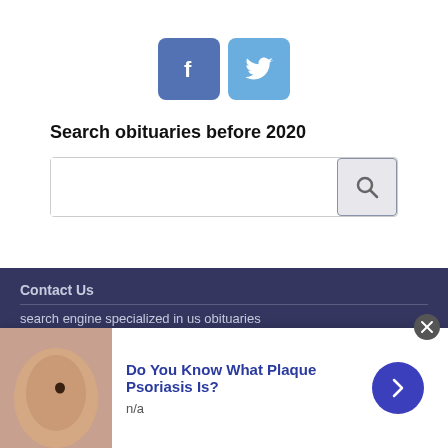[Figure (logo): Facebook and Twitter social share buttons — blue Facebook button with 'f' icon and light blue Twitter button with bird icon]
Search obituaries before 2020
[Figure (other): Search input bar with a magnifying glass search button on the right]
Contact Us
search engine specialized in us obituaries
Private Life
[Figure (photo): Close-up photo of a person's skin with a small dark mole, used as ad image for plaque psoriasis article]
Do You Know What Plaque Psoriasis Is?
n/a